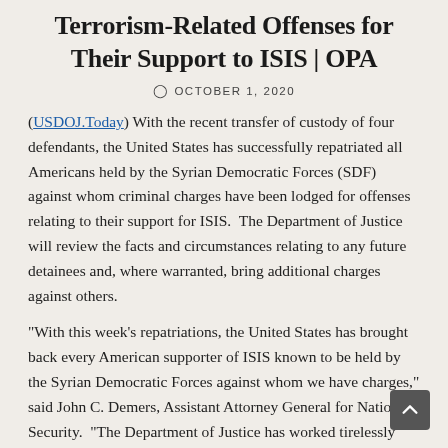Terrorism-Related Offenses for Their Support to ISIS | OPA
OCTOBER 1, 2020
(USDOJ.Today) With the recent transfer of custody of four defendants, the United States has successfully repatriated all Americans held by the Syrian Democratic Forces (SDF) against whom criminal charges have been lodged for offenses relating to their support for ISIS.  The Department of Justice will review the facts and circumstances relating to any future detainees and, where warranted, bring additional charges against others.
"With this week's repatriations, the United States has brought back every American supporter of ISIS known to be held by the Syrian Democratic Forces against whom we have charges," said John C. Demers, Assistant Attorney General for National Security.  "The Department of Justice has worked tirelessly over the years to prevent individuals from leaving America to fight for ISIS and other terrorist groups in Syria and to investigate, repatriate and charge